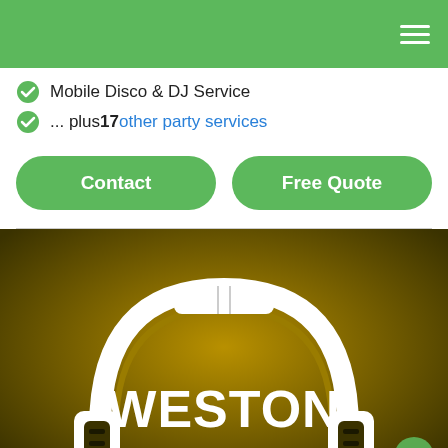Mobile disco & DJ service website header with hamburger menu
Mobile Disco & DJ Service
... plus 17 other party services
Contact | Free Quote
[Figure (logo): Weston Disco logo: white headphones graphic on dark golden-olive background with bold white text 'WESTON DISCO']